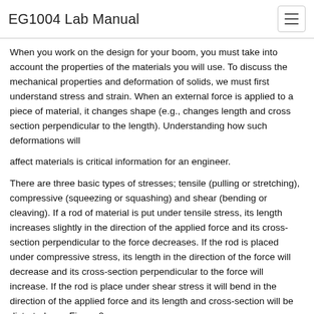EG1004 Lab Manual
When you work on the design for your boom, you must take into account the properties of the materials you will use. To discuss the mechanical properties and deformation of solids, we must first understand stress and strain. When an external force is applied to a piece of material, it changes shape (e.g., changes length and cross section perpendicular to the length). Understanding how such deformations will
affect materials is critical information for an engineer.
There are three basic types of stresses; tensile (pulling or stretching), compressive (squeezing or squashing) and shear (bending or cleaving). If a rod of material is put under tensile stress, its length increases slightly in the direction of the applied force and its cross-section perpendicular to the force decreases. If the rod is placed under compressive stress, its length in the direction of the force will decrease and its cross-section perpendicular to the force will increase. If the rod is place under shear stress it will bend in the direction of the applied force and its length and cross-section will be distorted, see Figure 2.